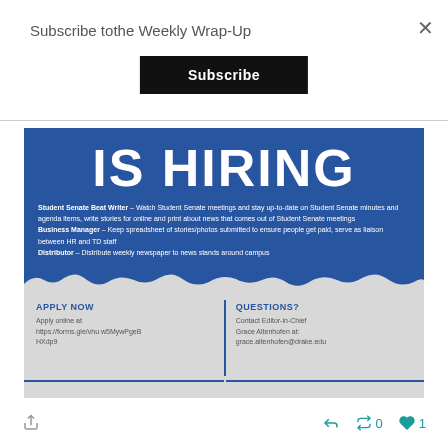Subscribe tothe Weekly Wrap-Up
Subscribe
[Figure (infographic): Blue recruitment poster reading IS HIRING with positions for Student Senate Beat Writer, Business Manager, and Distributor, with Apply Now and Questions sections at the bottom on a torn paper effect background]
0  1